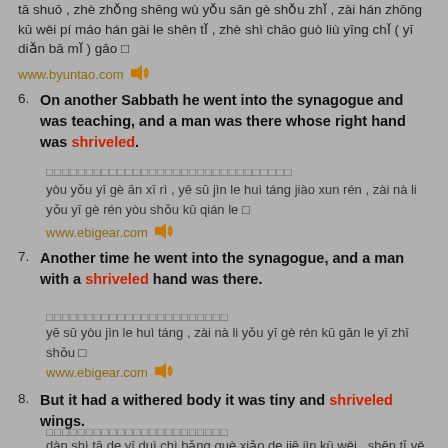tā shuō , zhè zhǒng shēng wù yǒu sān gè shǒu zhǐ , zài hán zhōng kū wěi pí máo hán gài le shēn tǐ , zhè shì chāo guò liù yīng chǐ ( yī diǎn bā mǐ ) gāo □
www.byuntao.com
6. On another Sabbath he went into the synagogue and was teaching, and a man was there whose right hand was shriveled.
□□□□□□□□□□□□□□□□□□□□□□□□□□□□□□□
yòu yǒu yī gè ān xī rì , yē sū jìn le huì táng jiào xun rén , zài nà li yǒu yī gè rén yòu shǒu kū qián le □
www.ebigear.com
7. Another time he went into the synagogue, and a man with a shriveled hand was there.
□□□□□□□□□□□□□□□□□□□□□□□
yē sū yòu jìn le huì táng , zài nà li yǒu yī gè rén kū gān le yī zhī shǒu □
www.ebigear.com
8. But it had a withered body it was tiny and shriveled wings.
□□□□□□□□□□□□□□□□□□□□□□□
dàn shì tā de yī duì chì bǎng què xiǎo de jiē jìn kū wěi , shēn tǐ yě